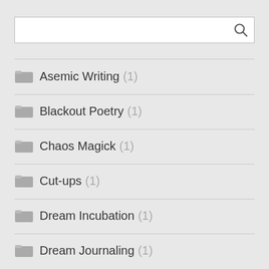Asemic Writing (1)
Blackout Poetry (1)
Chaos Magick (1)
Cut-ups (1)
Dream Incubation (1)
Dream Journaling (1)
Freewriting (3)